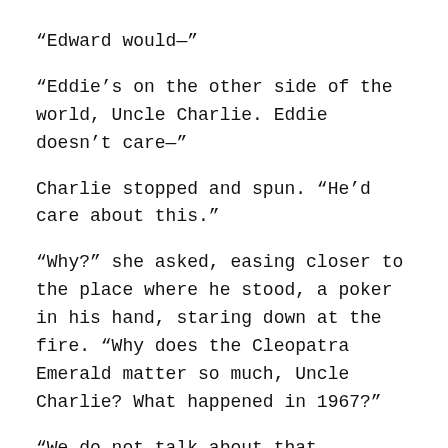“Edward would—”
“Eddie’s on the other side of the world, Uncle Charlie. Eddie doesn’t care—”
Charlie stopped and spun. “He’d care about this.”
“Why?” she asked, easing closer to the place where he stood, a poker in his hand, staring down at the fire. “Why does the Cleopatra Emerald matter so much, Uncle Charlie? What happened in 1967?”
“We do not talk about that, Katarina.”